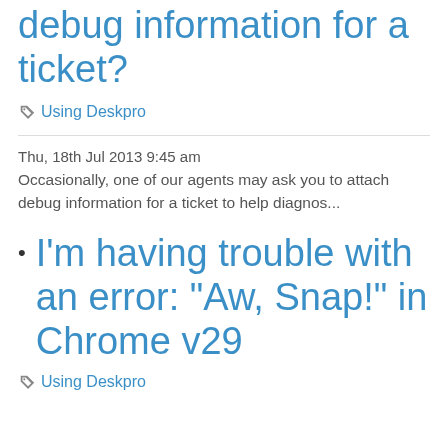debug information for a ticket?
Using Deskpro
Thu, 18th Jul 2013 9:45 am
Occasionally, one of our agents may ask you to attach debug information for a ticket to help diagnos...
I'm having trouble with an error: "Aw, Snap!" in Chrome v29
Using Deskpro